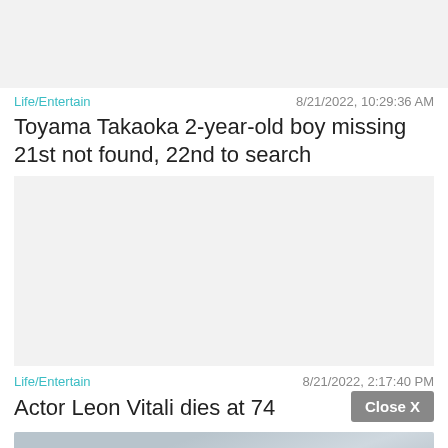[Figure (photo): Gray placeholder image at top of page]
Life/Entertain    8/21/2022, 10:29:36 AM
Toyama Takaoka 2-year-old boy missing 21st not found, 22nd to search
[Figure (photo): Large gray placeholder image in middle of page]
Life/Entertain    8/21/2022, 2:17:40 PM
Actor Leon Vitali dies at 74
[Figure (photo): Partial photo at bottom showing person in suit]